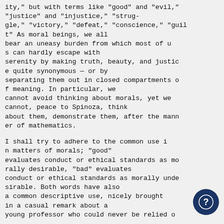ity," but with terms like "good" and "evil," "justice" and "injustice," "struggle," "victory," "defeat," "conscience," "guilt" As moral beings, we all bear an uneasy burden from which most of us can hardly escape with serenity by making truth, beauty, and justice quite synonymous — or by separating them out in closed compartments of meaning. In particular, we cannot avoid thinking about morals, yet we cannot, peace to Spinoza, think about them, demonstrate them, after the manner of mathematics.

I shall try to adhere to the common use in matters of morals; "good" evaluates conduct or ethical standards as morally desirable, "bad" evaluates conduct or ethical standards as morally undesirable. Both words have also a common descriptive use, nicely brought in a casual remark about a young professor who could never be relied o